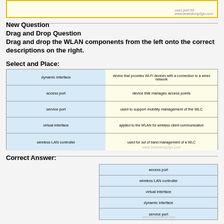[Figure (screenshot): Top cropped image showing 'uses port 69' text with braindump2go.com watermark in a yellow-bordered box]
New Question
Drag and Drop Question
Drag and drop the WLAN components from the left onto the correct descriptions on the right.
Select and Place:
| Left | Right |
| --- | --- |
| dynamic interface | device that provides Wi-Fi devices with a connection to a wired network |
| access port | device that manages access points |
| service port | used to support mobility management of the WLC |
| virtual interface | applied to the WLAN for wireless client communication |
| wireless LAN controller | used for out of band management of a WLC |
Correct Answer:
| Answer |
| --- |
| access port |
| wireless LAN controller |
| virtual interface |
| dynamic interface |
| service port |